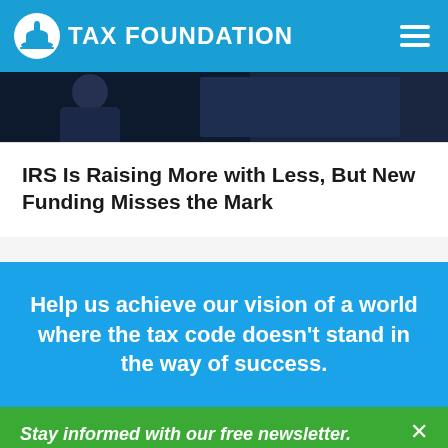TAX FOUNDATION
[Figure (photo): Partial photograph, dark background with a person partially visible, related to an IRS article]
IRS Is Raising More with Less, But New Funding Misses the Mark
Help us achieve our vision of a world where the tax code doesn't stand in the way of success.
Stay informed with our free newsletter.
The latest data, news, and analysis curated weekly.
Join now